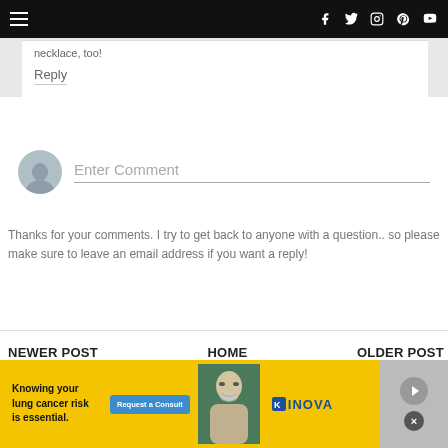Navigation bar with hamburger menu and social icons (Facebook, Twitter, Instagram, Pinterest, YouTube)
necklace, too!
Reply
Enter Comment
Thanks for your comments. I try to get back to anyone with a question.. so please make sure to leave an email address if you want a reply!
NEWER POST
HOME
OLDER POST
[Figure (infographic): Advertisement banner: Knowing your lung cancer risk is essential. Request a Consult button. INOVA logo. Image of older man. Close/navigation controls on right side.]